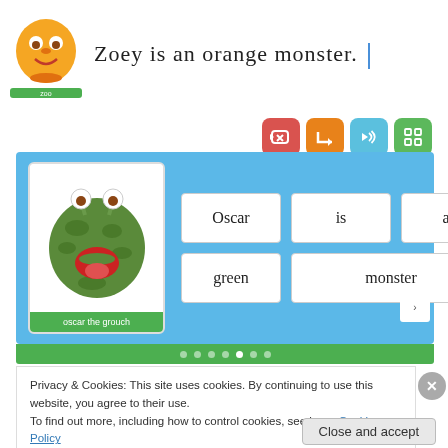[Figure (illustration): Zoey orange monster character with green label 'zoo']
Zoey is an orange monster.
[Figure (screenshot): Interactive learning app screenshot showing Oscar the Grouch character card with word tiles: Oscar, is, a, green, monster. Four buttons: red delete, orange enter, blue speaker, green grid. Navigation dots at bottom.]
Privacy & Cookies: This site uses cookies. By continuing to use this website, you agree to their use.
To find out more, including how to control cookies, see here: Cookie Policy